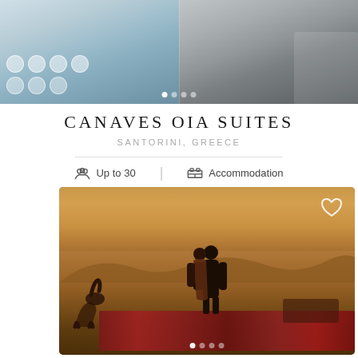[Figure (photo): Top banner showing two wedding venue photos side by side: left is an aerial view of a table setting with white chairs and decorations, right shows a rocky coastal or cliff scene. Carousel dots visible at bottom.]
CANAVES OIA SUITES
SANTORINI, GREECE
Up to 30  |  Accommodation
[Figure (photo): Desert landscape photo showing a couple embracing/kissing, standing on ornate carpets with decorative items around them. A camel handler and camel are visible to the left. Desert dunes and a golden sunset sky fill the background. Heart/favorite icon in top right corner. Carousel dots at bottom.]